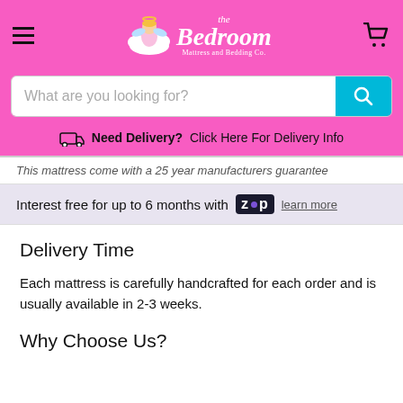the Bedroom Mattress and Bedding Co.
What are you looking for?
Need Delivery? Click Here For Delivery Info
This mattress come with a 25 year manufacturers guarantee
Interest free for up to 6 months with ZIP learn more
Delivery Time
Each mattress is carefully handcrafted for each order and is usually available in 2-3 weeks.
Why Choose Us?